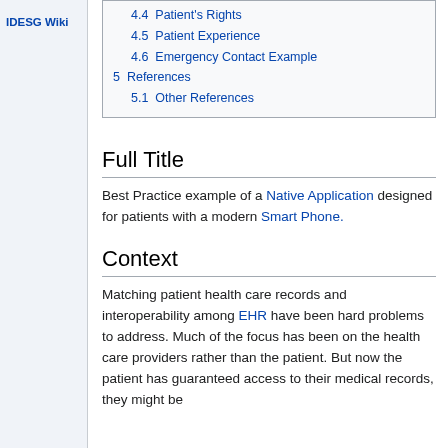IDESG Wiki
4.4 Patient's Rights
4.5 Patient Experience
4.6 Emergency Contact Example
5 References
5.1 Other References
Full Title
Best Practice example of a Native Application designed for patients with a modern Smart Phone.
Context
Matching patient health care records and interoperability among EHR have been hard problems to address. Much of the focus has been on the health care providers rather than the patient. But now the patient has guaranteed access to their medical records, they might be